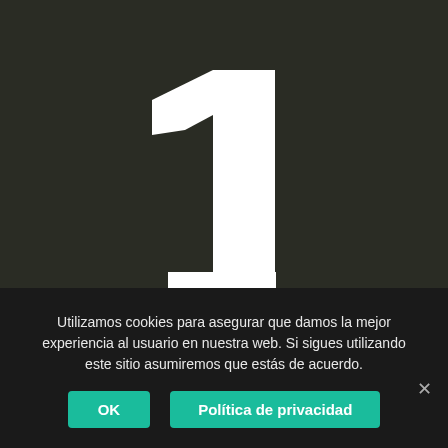[Figure (illustration): Large white numeral '1' on a dark olive/charcoal background, centered in the upper portion of the page.]
Utilizamos cookies para asegurar que damos la mejor experiencia al usuario en nuestra web. Si sigues utilizando este sitio asumiremos que estás de acuerdo.
OK
Política de privacidad